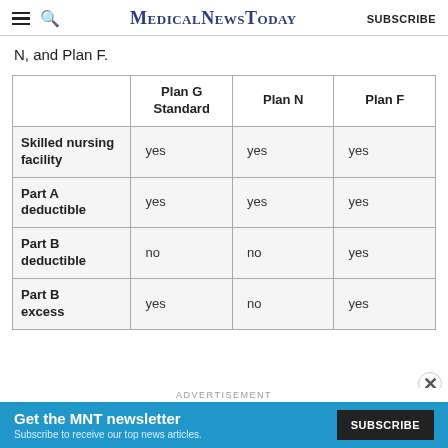MedicalNewsToday | SUBSCRIBE
N, and Plan F.
|  | Plan G Standard | Plan N | Plan F |
| --- | --- | --- | --- |
| Skilled nursing facility | yes | yes | yes |
| Part A deductible | yes | yes | yes |
| Part B deductible | no | no | yes |
| Part B excess | yes | no | yes |